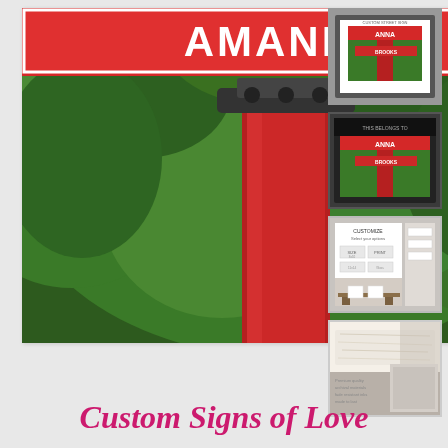[Figure (photo): Main large photo of a red street sign post with 'AMANDA ST' sign, surrounded by lush green trees/foliage background]
[Figure (photo): Thumbnail 1: framed print of street sign with white border frame]
[Figure (photo): Thumbnail 2: framed print with dark/black frame of street sign]
[Figure (photo): Thumbnail 3: product customization options page showing size/text options]
[Figure (photo): Thumbnail 4: close-up of wood/material detail]
Custom Signs of Love